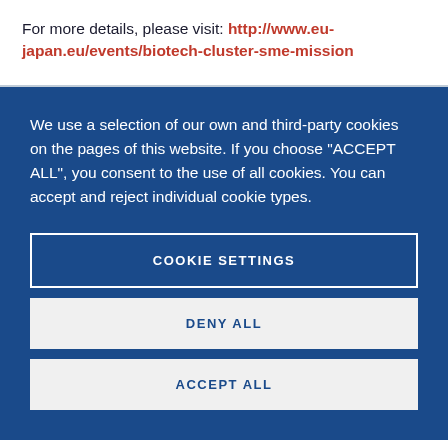For more details, please visit: http://www.eu-japan.eu/events/biotech-cluster-sme-mission
We use a selection of our own and third-party cookies on the pages of this website. If you choose "ACCEPT ALL", you consent to the use of all cookies. You can accept and reject individual cookie types.
COOKIE SETTINGS
DENY ALL
ACCEPT ALL